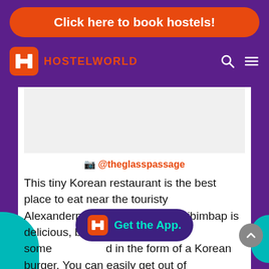[Figure (screenshot): Orange rounded button with white text: Click here to book hostels!]
HOSTELWORLD
[Figure (screenshot): White content card with embedded image area, Instagram reference @theglasspassage, and body text about a Korean restaurant near Alexanderplatz]
📷 @theglasspassage
This tiny Korean restaurant is the best place to eat near the touristy Alexanderplatz. The traditional bibimbap is delicious, but you can also try some [meat] in the form of a Korean burger. You can easily get out of
[Figure (screenshot): Get the App button overlay with Hostelworld H logo icon and teal text on dark purple background]